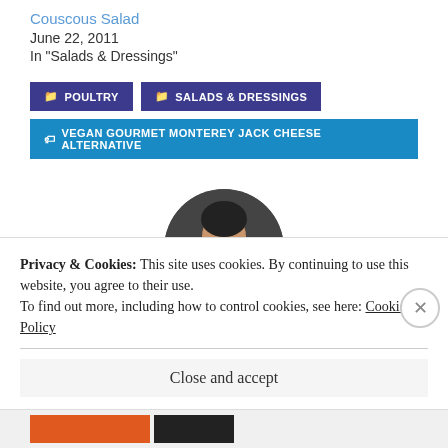Couscous Salad
June 22, 2011
In "Salads & Dressings"
POULTRY
SALADS & DRESSINGS
VEGAN GOURMET MONTEREY JACK CHEESE ALTERNATIVE
[Figure (photo): Circular profile photo of a person holding a blue cup]
Privacy & Cookies: This site uses cookies. By continuing to use this website, you agree to their use.
To find out more, including how to control cookies, see here: Cookie Policy
Close and accept